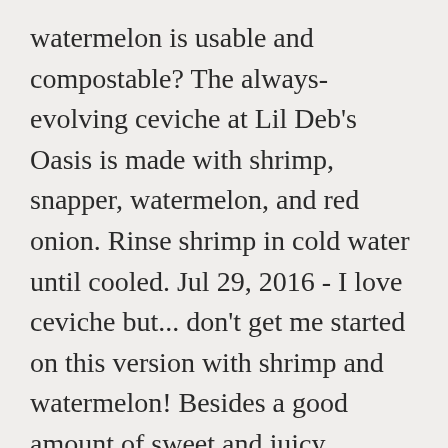watermelon is usable and compostable? The always-evolving ceviche at Lil Deb's Oasis is made with shrimp, snapper, watermelon, and red onion. Rinse shrimp in cold water until cooled. Jul 29, 2016 - I love ceviche but... don't get me started on this version with shrimp and watermelon! Besides a good amount of sweet and juicy watermelon, this watermelon and citrus shrimp ceviche is loaded with nuggets of fresh shrimp, plus the bright flavors of orange and lime. posted by Brenda Score on July 10, 2017 (updated August 12, 2020), My face is in the little surprised emoji shape right now. Created by Susan Feniger, chef and owner of Mud Hen Tavern in Los Angeles, it's the perfect balance of salty and sweet -- with a hint of